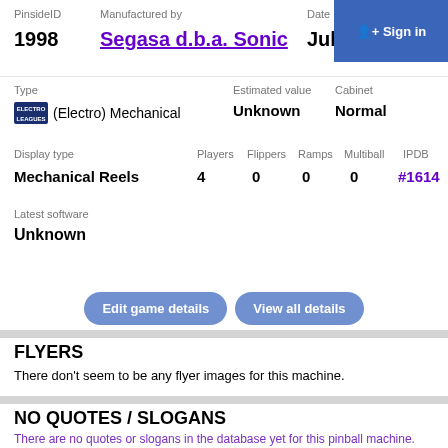PinsideID 1998 | Manufactured by Segasa d.b.a. Sonic | Date July 1977 | Sign in
Type: (Electro) Mechanical | Estimated value: Unknown | Cabinet: Normal
Display type: Mechanical Reels | Players: 4 | Flippers: 0 | Ramps: 0 | Multiball: 0 | IPDB: #1614
Latest software: Unknown
Edit game details | View all details
FLYERS
There don't seem to be any flyer images for this machine.
NO QUOTES / SLOGANS
There are no quotes or slogans in the database yet for this pinball machine.